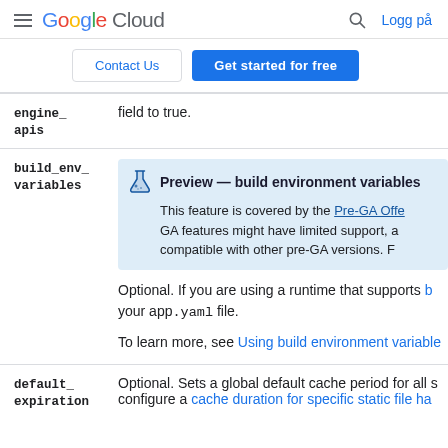Google Cloud — Logg på
Contact Us | Get started for free
| Field | Description |
| --- | --- |
| engine_apis | field to true. |
| build_env_variables | Preview — build environment variables
This feature is covered by the Pre-GA Offe GA features might have limited support, a compatible with other pre-GA versions. F

Optional. If you are using a runtime that supports b your app.yaml file.

To learn more, see Using build environment variable |
| default_expiration | Optional. Sets a global default cache period for all s configure a cache duration for specific static file ha |
Preview — build environment variables callout with flask icon